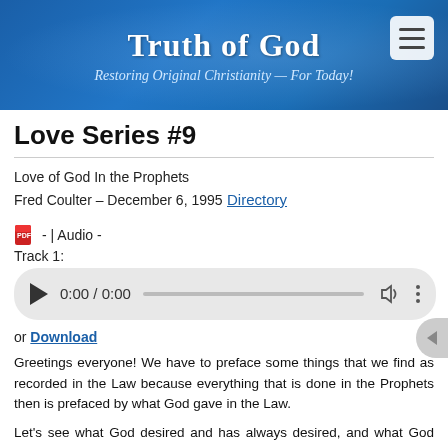Truth of God — Restoring Original Christianity — For Today!
Love Series #9
Love of God In the Prophets
Fred Coulter – December 6, 1995
Directory
- | Audio -
Track 1:
[Figure (screenshot): Audio player showing 0:00 / 0:00 with play button, progress bar, volume and options icons]
or Download
Greetings everyone! We have to preface some things that we find as recorded in the Law because everything that is done in the Prophets then is prefaced by what God gave in the Law.
Let's see what God desired and has always desired, and what God wants, Deuteronomy 6:5: "And you shall love the LORD your God with all your heart and with all your soul and with all your might." This is what God has always wanted. This is what God calls...